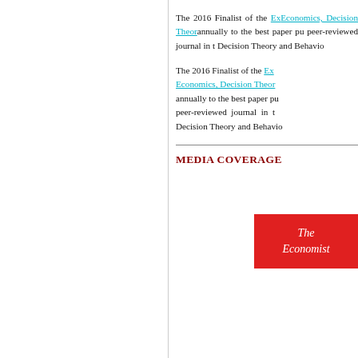The 2016 Finalist of the Ex[cellence Award in] Economics, Decision Theor[y...] annually to the best paper pu[blished in a] peer-reviewed journal in t[he area of] Decision Theory and Behavio[ral Economics].
MEDIA COVERAGE
[Figure (logo): The Economist magazine logo — white italic text on red background]